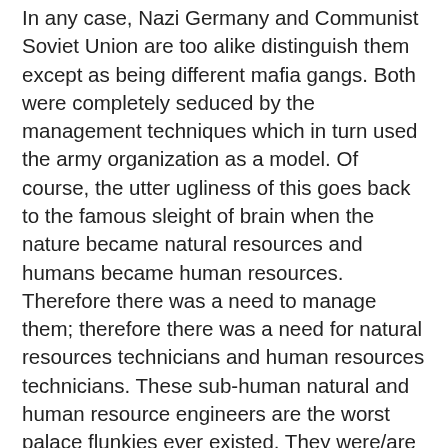In any case, Nazi Germany and Communist Soviet Union are too alike distinguish them except as being different mafia gangs. Both were completely seduced by the management techniques which in turn used the army organization as a model. Of course, the utter ugliness of this goes back to the famous sleight of brain when the nature became natural resources and humans became human resources. Therefore there was a need to manage them; therefore there was a need for natural resources technicians and human resources technicians. These sub-human natural and human resource engineers are the worst palace flunkies ever existed. They were/are called scientists by their masters who wanted/want to pump them to make them pompous.
Hitler is dead, long live Hitler! This motto is the Western blue eyed blond version of the same insanity. Western countries have enriched/enrich themselves bleeding people from all over the world to distribute to the middle-classes who are, though I know they can be charming, the